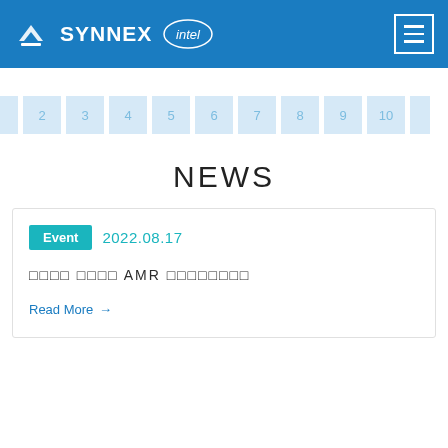SYNNEX intel
[Figure (other): Navigation strip with numbered page indicators 1 through 10 with partial indicators on each side]
NEWS
Event 2022.08.17
□□□□ □□□□ AMR □□□□□□□□
Read More →